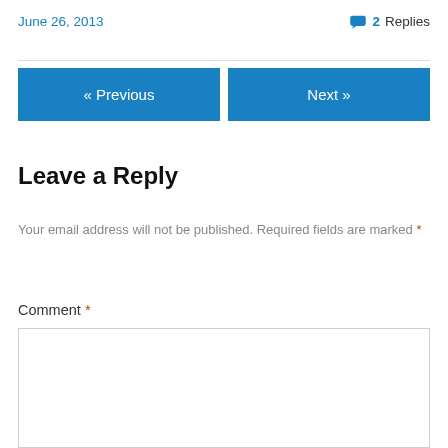June 26, 2013
💬 2 Replies
« Previous
Next »
Leave a Reply
Your email address will not be published. Required fields are marked *
Comment *